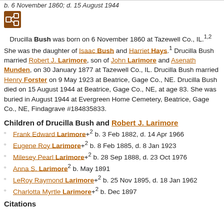b. 6 November 1860; d. 15 August 1944
[Figure (other): Orange/brown icon box with a network/share symbol]
Drucilla Bush was born on 6 November 1860 at Tazewell Co., IL.1,2 She was the daughter of Isaac Bush and Harriet Hays.1 Drucilla Bush married Robert J. Larimore, son of John Larimore and Asenath Munden, on 30 January 1877 at Tazewell Co., IL. Drucilla Bush married Henry Forster on 9 May 1923 at Beatrice, Gage Co., NE. Drucilla Bush died on 15 August 1944 at Beatrice, Gage Co., NE, at age 83. She was buried in August 1944 at Evergreen Home Cemetery, Beatrice, Gage Co., NE, Findagrave #184835833.
Children of Drucilla Bush and Robert J. Larimore
Frank Edward Larimore+2 b. 3 Feb 1882, d. 14 Apr 1966
Eugene Roy Larimore+2 b. 8 Feb 1885, d. 8 Jan 1923
Milesey Pearl Larimore+2 b. 28 Sep 1888, d. 23 Oct 1976
Anna S. Larimore2 b. May 1891
LeRoy Raymond Larimore+2 b. 25 Nov 1895, d. 18 Jan 1962
Charlotta Myrtle Larimore+2 b. Dec 1897
Citations